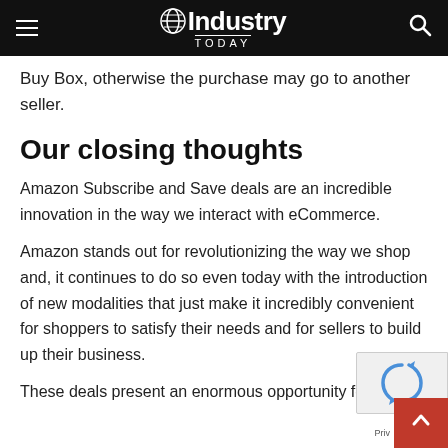Industry Today
Buy Box, otherwise the purchase may go to another seller.
Our closing thoughts
Amazon Subscribe and Save deals are an incredible innovation in the way we interact with eCommerce.
Amazon stands out for revolutionizing the way we shop and, it continues to do so even today with the introduction of new modalities that just make it incredibly convenient for shoppers to satisfy their needs and for sellers to build up their business.
These deals present an enormous opportunity for you t…